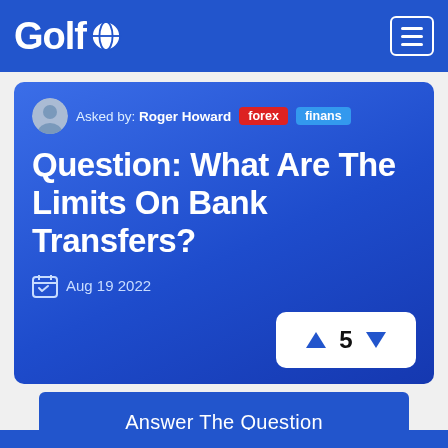Golf (logo with globe icon)
Asked by: Roger Howard  forex  finans
Question: What Are The Limits On Bank Transfers?
Aug 19 2022
▲ 5 ▼
Answer The Question